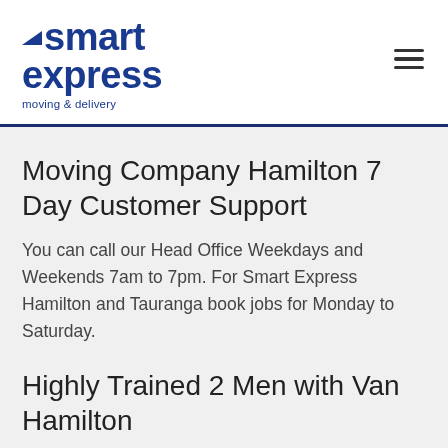[Figure (logo): Smart Express moving & delivery company logo — dark blue bold text with small arrow accent, tagline 'moving & delivery']
Moving Company Hamilton 7 Day Customer Support
You can call our Head Office Weekdays and Weekends 7am to 7pm. For Smart Express Hamilton and Tauranga book jobs for Monday to Saturday.
Highly Trained 2 Men with Van Hamilton